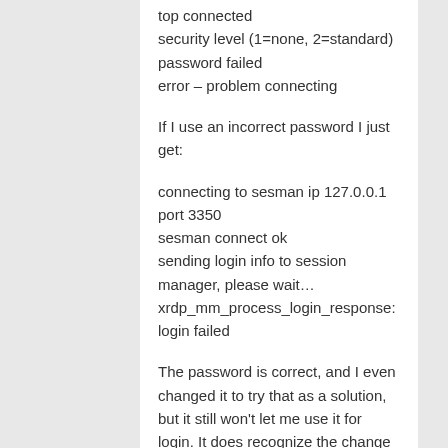top connected
security level (1=none, 2=standard)
password failed
error – problem connecting
If I use an incorrect password I just get:
connecting to sesman ip 127.0.0.1 port 3350
sesman connect ok
sending login info to session manager, please wait…
xrdp_mm_process_login_response: login failed
The password is correct, and I even changed it to try that as a solution, but it still won't let me use it for login. It does recognize the change though.
2) If I login directly to the RPi touchscreen I get:
GDBus: Error.org.freedesktop.PolicyKit1.
Error.Failed: User of caller and user of subject